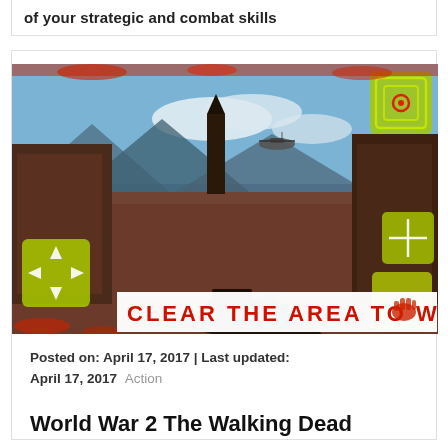of your strategic and combat skills
[Figure (screenshot): First-person shooter game screenshot showing a western-style town environment with a helicopter in the sky, yellow target UI elements on the sides, and a banner reading 'CLEAR THE AREA TO WIN' in red text with a bloody handprint.]
Posted on: April 17, 2017 | Last updated: April 17, 2017  Action
World War 2 The Walking Dead